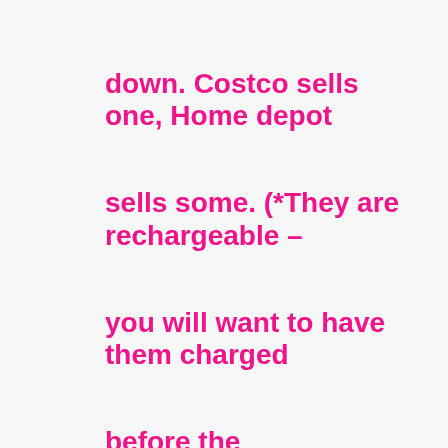down. Costco sells one, Home depot sells some. (*They are rechargeable – you will want to have them charged before the event!)example: http://www.costco.co